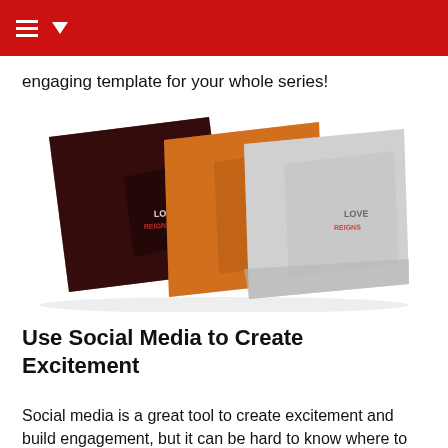engaging template for your whole series!
[Figure (photo): Three overlapping book covers fanned out: a dark maroon/black one on the left, an orange one in the middle, and a light gray/white one on the right. Each has 'LOVE REIGNS' text on the cover.]
Use Social Media to Create Excitement
Social media is a great tool to create excitement and build engagement, but it can be hard to know where to start. It doesn't have to be! With